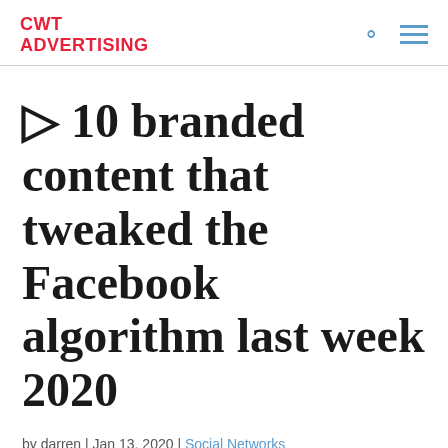CWT ADVERTISING
▷ 10 branded content that tweaked the Facebook algorithm last week 2020
by darren | Jan 13, 2020 | Social Networks